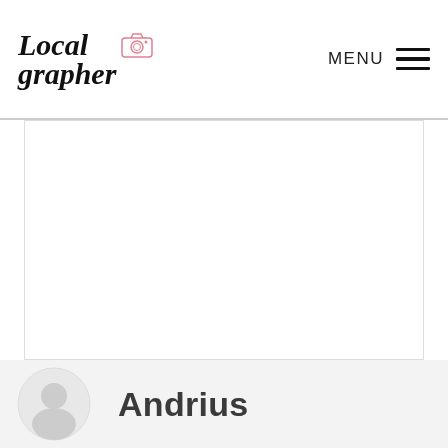[Figure (logo): Localgrapher logo with stylized script text 'Local grapher' and a small camera icon outline in pink/red]
MENU
[Figure (photo): Large white/blank content area with light border]
Andrius